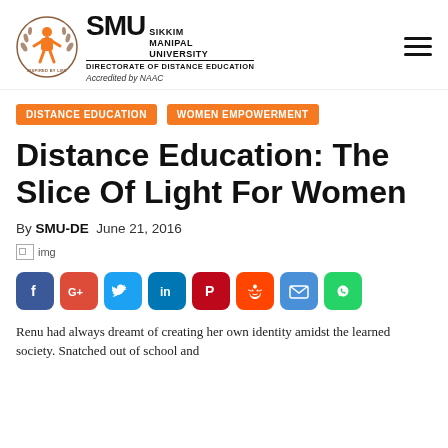[Figure (logo): SMU Sikkim Manipal University Directorate of Distance Education logo with circular emblem and Accredited by NAAC text]
DISTANCE EDUCATION
WOMEN EMPOWERMENT
Distance Education: The Slice Of Light For Women
By SMU-DE  June 21, 2016
[Figure (photo): Broken/placeholder image]
[Figure (infographic): Social share buttons: Facebook, Google+, Twitter, LinkedIn, Pinterest, Reddit, Email, WhatsApp]
Renu had always dreamt of creating her own identity amidst the learned society. Snatched out of school and